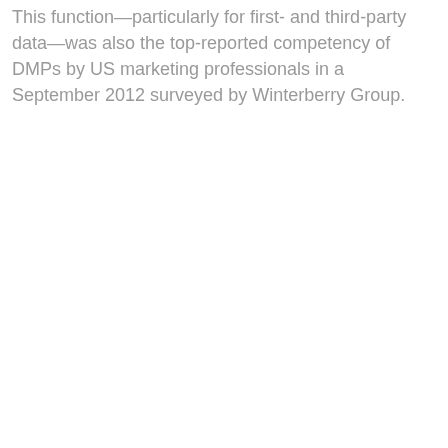This function—particularly for first- and third-party data—was also the top-reported competency of DMPs by US marketing professionals in a September 2012 surveyed by Winterberry Group.